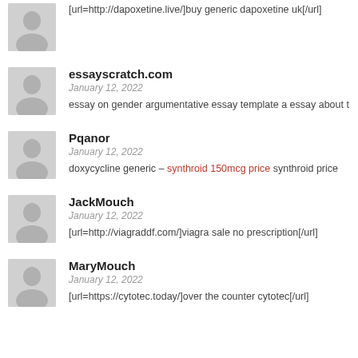[url=http://dapoxetine.live/]buy generic dapoxetine uk[/url]
essayscratch.com
January 12, 2022
essay on gender argumentative essay template a essay about t
Pqanor
January 12, 2022
doxycycline generic – synthroid 150mcg price synthroid price
JackMouch
January 12, 2022
[url=http://viagraddf.com/]viagra sale no prescription[/url]
MaryMouch
January 12, 2022
[url=https://cytotec.today/]over the counter cytotec[/url]